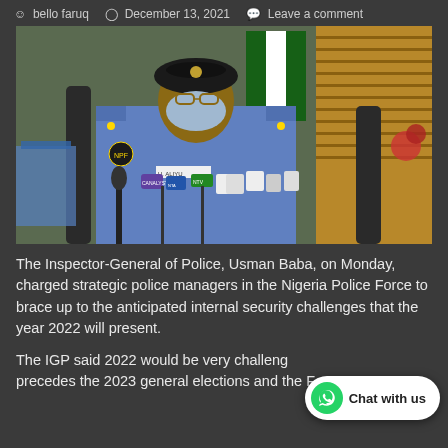bello faruq   December 13, 2021   Leave a comment
[Figure (photo): Inspector-General of Police Usman Baba seated at desk wearing police uniform and face mask, speaking at a press conference with multiple microphones in front, Nigerian flag and window blinds in background]
The Inspector-General of Police, Usman Baba, on Monday, charged strategic police managers in the Nigeria Police Force to brace up to the anticipated internal security challenges that the year 2022 will present.
The IGP said 2022 would be very challeng… precedes the 2023 general elections and the Force…